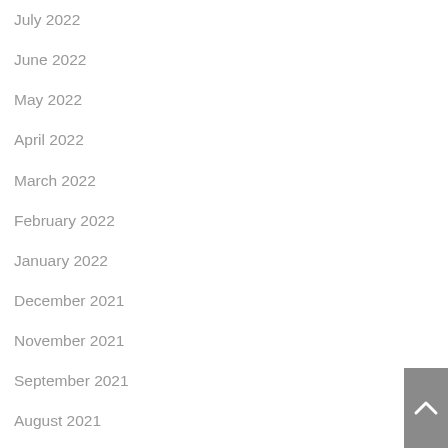July 2022
June 2022
May 2022
April 2022
March 2022
February 2022
January 2022
December 2021
November 2021
September 2021
August 2021
July 2021
June 2021
May 2021